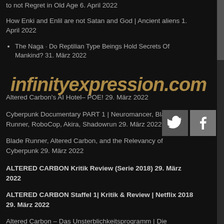to not Regret in Old Age 6. April 2022
How Enki and Enlil are not Satan and God | Ancient aliens 1. April 2022
The Naga - Do Reptilian Type Beings Hold Secrets Of Mankind? 31. März 2022
[Figure (other): infinityexpression.com watermark overlaid on content]
Altered Carbon's AI Hotel– POE! 29. März 2022
Cyberpunk Documentary PART 1 | Neuromancer, Blade Runner, RoboCop, Akira, Shadowrun 29. März 2022
Blade Runner, Altered Carbon, and the Relevancy of Cyberpunk 29. März 2022
ALTERED CARBON Kritik Review (Serie 2018) 29. März 2022
ALTERED CARBON Staffel 1| Kritik & Review | Netflix 2018 29. März 2022
Altered Carbon – Das Unsterblichkeitsprogramm | Die Geschichte der Unsterblichkeit | Netflix 28. März 2022
Strange Similarities Between Hindu And Greek Mythology 27. März 2022
Ananta Shesha – Lord Vishnu's Snake Bed 27. März 2022